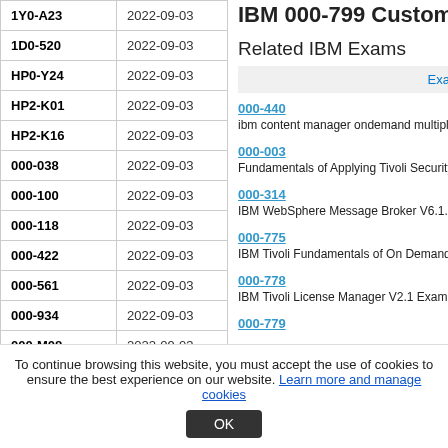IBM 000-799 Customer...
| Exam | Date |
| --- | --- |
| 1Y0-A23 | 2022-09-03 |
| 1D0-520 | 2022-09-03 |
| HP0-Y24 | 2022-09-03 |
| HP2-K01 | 2022-09-03 |
| HP2-K16 | 2022-09-03 |
| 000-038 | 2022-09-03 |
| 000-100 | 2022-09-03 |
| 000-118 | 2022-09-03 |
| 000-422 | 2022-09-03 |
| 000-561 | 2022-09-03 |
| 000-934 | 2022-09-03 |
| 000-M08 | 2022-09-03 |
| 000-M33 | 2022-09-03 |
Related IBM Exams
Exa
000-440 - ibm content manager ondemand multiplatfo...
000-003 - Fundamentals of Applying Tivoli Security an...
000-314 - IBM WebSphere Message Broker V6.1. Sys...
000-775 - IBM Tivoli Fundamentals of On Demand Au...
000-778 - IBM Tivoli License Manager V2.1 Exam
000-779
To continue browsing this website, you must accept the use of cookies to ensure the best experience on our website. Learn more and manage cookies OK